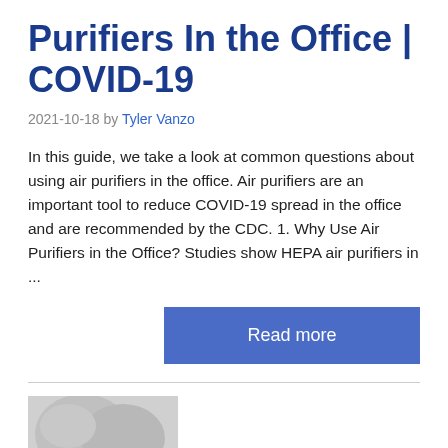Purifiers In the Office | COVID-19
2021-10-18 by Tyler Vanzo
In this guide, we take a look at common questions about using air purifiers in the office. Air purifiers are an important tool to reduce COVID-19 spread in the office and are recommended by the CDC. 1. Why Use Air Purifiers in the Office? Studies show HEPA air purifiers in ...
[Figure (other): Read more button (blue rectangular button with white text)]
[Figure (photo): Partial thumbnail image at the bottom left of the page, grey/blurred]